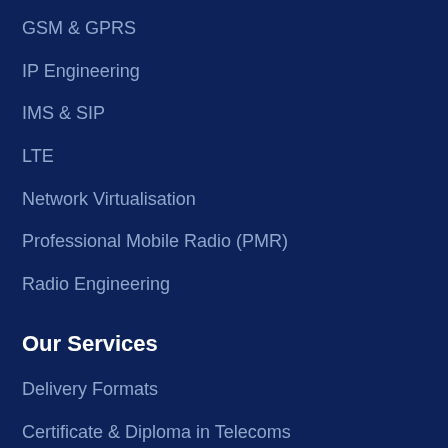GSM & GPRS
IP Engineering
IMS & SIP
LTE
Network Virtualisation
Professional Mobile Radio (PMR)
Radio Engineering
Our Services
Delivery Formats
Certificate & Diploma in Telecoms
On-Demand Online Training
Customised Training
Telecoms Learning Library